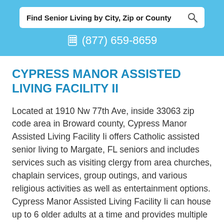Find Senior Living by City, Zip or County
(877) 659-8659
CYPRESS MANOR ASSISTED LIVING FACILITY II
Located at 1910 Nw 77th Ave, inside 33063 zip code area in Broward county, Cypress Manor Assisted Living Facility Ii offers Catholic assisted senior living to Margate, FL seniors and includes services such as visiting clergy from area churches, chaplain services, group outings, and various religious activities as well as entertainment options. Cypress Manor Assisted Living Facility Ii can house up to 6 older adults at a time and provides multiple